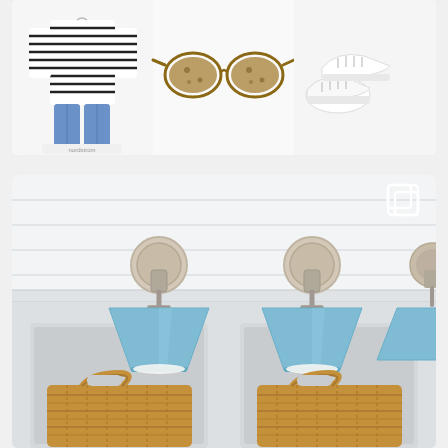[Figure (photo): Instagram-style card showing three product images side by side: a striped long-sleeve shirt with jeans, tortoiseshell sunglasses, and white sneakers on a white background]
[Figure (photo): Interior design photo showing two blue cone-shaped wall sconces with polished nickel hardware mounted on white shiplap wall, with woven seagrass baskets below in built-in shelf niches. Instagram multi-image indicator icon visible in upper right.]